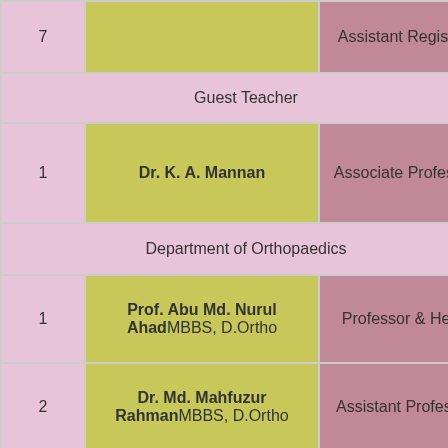| # | Name | Designation |
| --- | --- | --- |
| 7 | Dr. Liza SabrinaMBBS | Assistant Registrar |
| (merged) Guest Teacher |  |  |
| 1 | Dr. K. A. Mannan | Associate Professor |
| (merged) Department of Orthopaedics |  |  |
| 1 | Prof. Abu Md. Nurul AhadMBBS, D.Ortho | Professor & Head |
| 2 | Dr. Md. Mahfuzur RahmanMBBS, D.Ortho | Assistant Professor |
| 3 | Dr. Md. Khaza AhmedMBBS, D.Ortho | Assistant Professor |
| ... | ... | ... |